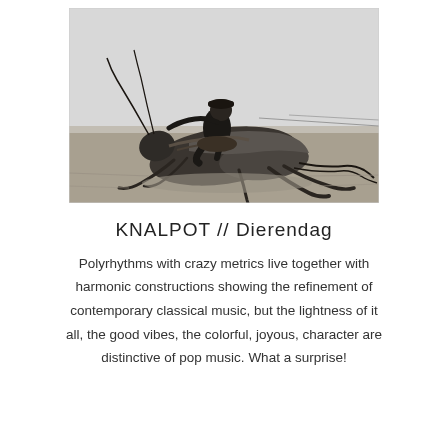[Figure (photo): Black and white vintage photograph of a man riding a large grasshopper/locust on a flat open landscape, the man wearing a cap and dark clothing, holding what appear to be reins or antennas.]
KNALPOT // Dierendag
Polyrhythms with crazy metrics live together with harmonic constructions showing the refinement of contemporary classical music, but the lightness of it all, the good vibes, the colorful, joyous, character are distinctive of pop music. What a surprise!